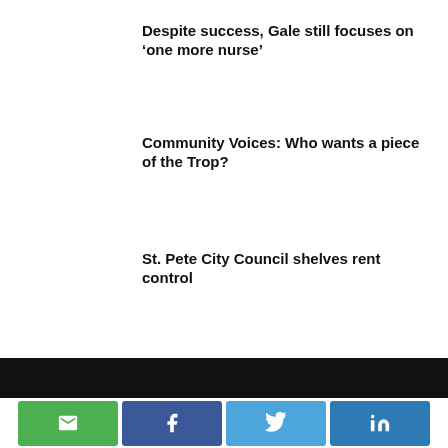Despite success, Gale still focuses on ‘one more nurse’
Community Voices: Who wants a piece of the Trop?
St. Pete City Council shelves rent control
[Figure (other): Social share buttons: Email (green), Facebook (blue), Twitter (light blue), LinkedIn (dark blue)]